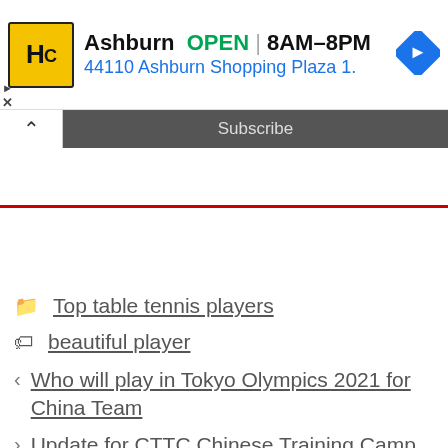[Figure (other): Advertisement banner for HC store in Ashburn showing logo, OPEN status, hours 8AM-8PM, address 44110 Ashburn Shopping Plaza 1., and a navigation arrow icon]
Subscribe
Top table tennis players
beautiful player
< Who will play in Tokyo Olympics 2021 for China Team
> Update for CTTC Chinese Training Camp 2021